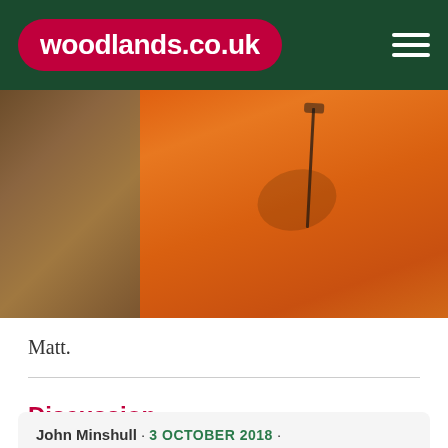woodlands.co.uk
[Figure (photo): Close-up photo of a person wearing a bright orange jacket or workwear garment with a black zipper pocket, partially showing a woodland floor background on the left side.]
Matt.
Discussion
John Minshull · 3 OCTOBER 2018 ·